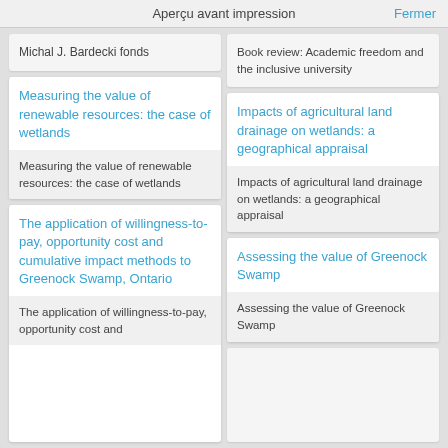Aperçu avant impression
Fermer
Michal J. Bardecki fonds
Book review: Academic freedom and the inclusive university
Measuring the value of renewable resources: the case of wetlands
Measuring the value of renewable resources: the case of wetlands
Impacts of agricultural land drainage on wetlands: a geographical appraisal
Impacts of agricultural land drainage on wetlands: a geographical appraisal
The application of willingness-to-pay, opportunity cost and cumulative impact methods to Greenock Swamp, Ontario
The application of willingness-to-pay, opportunity cost and
Assessing the value of Greenock Swamp
Assessing the value of Greenock Swamp